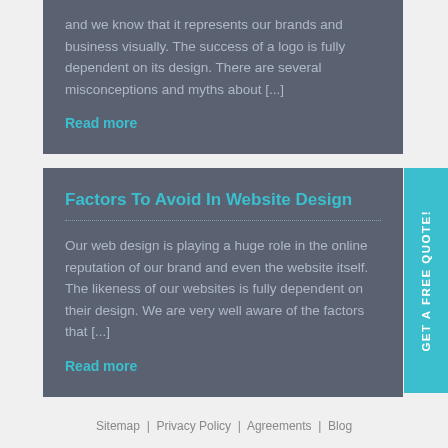and we know that it represents our brands and business visually. The success of a logo is fully dependent on its design. There are several misconceptions and myths about [...]
Read more
Factors To Avoid In Website Design
Our web design is playing a huge role in the online reputation of our brand and even the website itself. The likeness of our websites is fully dependent on their design. We are very well aware of the factors that [...]
Read more
Sitemap  |  Privacy Policy  |  Agreements  |  Blog